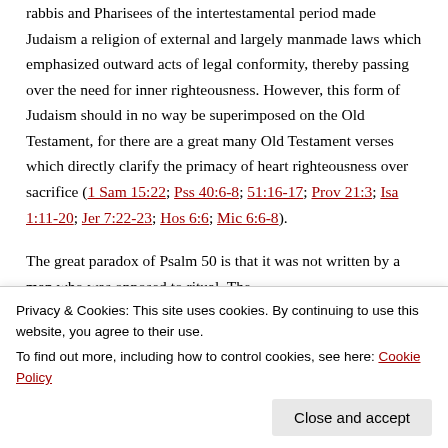rabbis and Pharisees of the intertestamental period made Judaism a religion of external and largely manmade laws which emphasized outward acts of legal conformity, thereby passing over the need for inner righteousness. However, this form of Judaism should in no way be superimposed on the Old Testament, for there are a great many Old Testament verses which directly clarify the primacy of heart righteousness over sacrifice (1 Sam 15:22; Pss 40:6-8; 51:16-17; Prov 21:3; Isa 1:11-20; Jer 7:22-23; Hos 6:6; Mic 6:6-8).
The great paradox of Psalm 50 is that it was not written by a man who was opposed to ritual. The
Privacy & Cookies: This site uses cookies. By continuing to use this website, you agree to their use. To find out more, including how to control cookies, see here: Cookie Policy